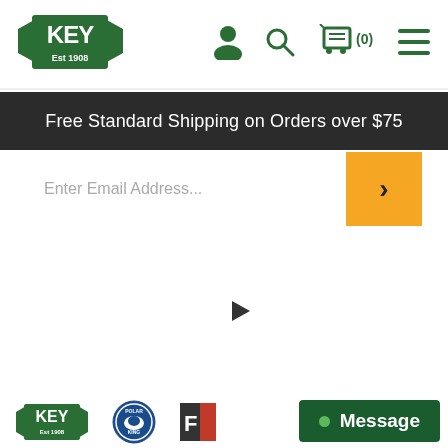[Figure (logo): KEY Est 1908 logo in green with decorative banner, top-left header]
[Figure (screenshot): User/account icon (dark green silhouette)]
[Figure (screenshot): Search magnifying glass icon (dark green)]
[Figure (screenshot): Shopping cart icon with (0) count (dark green)]
[Figure (screenshot): Hamburger menu icon (dark green)]
Free Standard Shipping on Orders over $75
Enter Email Address...
FOLLOW US
[Figure (screenshot): Social media icons: Facebook, Instagram, LinkedIn, Twitter, YouTube, Pinterest, TikTok]
[Figure (logo): KEY Est 1908 logo (small, bottom)]
[Figure (logo): Polar King logo (blue circular badge)]
[Figure (logo): KEY F logo (partially visible)]
Message